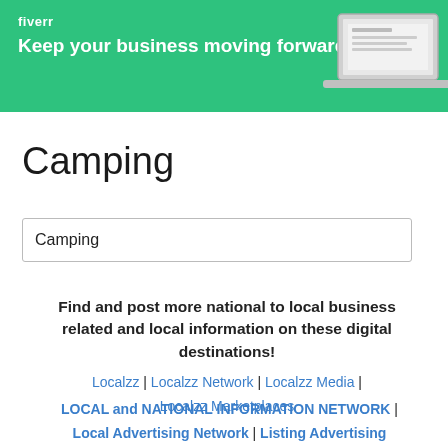[Figure (illustration): Fiverr advertisement banner with green background, Fiverr logo, tagline 'Keep your business moving forward', and a laptop image on the right side.]
Camping
Camping
Find and post more national to local business related and local information on these digital destinations!
Localzz | Localzz Network | Localzz Media | Localzz Marketplaces
LOCAL and NATIONAL INFORMATION NETWORK | Local Advertising Network | Listing Advertising